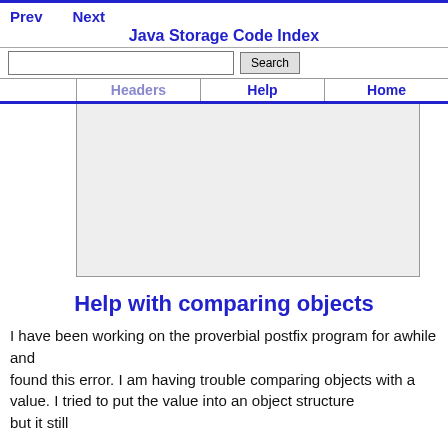Prev   Next   Java Storage Code Index   Search   Headers   Help   Home
[Figure (other): Advertisement or banner area — empty gray box]
Help with comparing objects
I have been working on the proverbial postfix program for awhile and found this error. I am having trouble comparing objects with a value. I tried to put the value into an object structure but it still